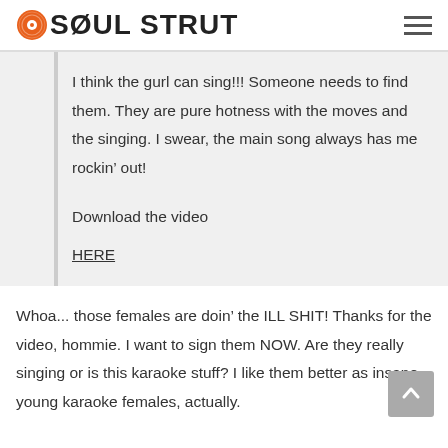SOUL STRUT
I think the gurl can sing!!! Someone needs to find them. They are pure hotness with the moves and the singing. I swear, the main song always has me rockin' out!
Download the video
HERE
Whoa... those females are doin' the ILL SHIT! Thanks for the video, hommie. I want to sign them NOW. Are they really singing or is this karaoke stuff? I like them better as insane young karaoke females, actually.